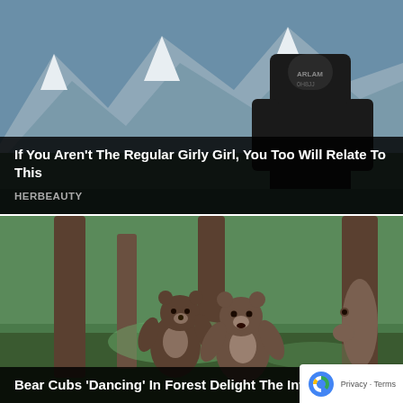[Figure (photo): Person in black hoodie sitting in front of snow-capped mountains]
If You Aren't The Regular Girly Girl, You Too Will Relate To This
HERBEAUTY
[Figure (photo): Two brown bear cubs appearing to dance facing each other in a forest, with a third bear visible near a tree in the background]
Bear Cubs 'Dancing' In Forest Delight The Internet